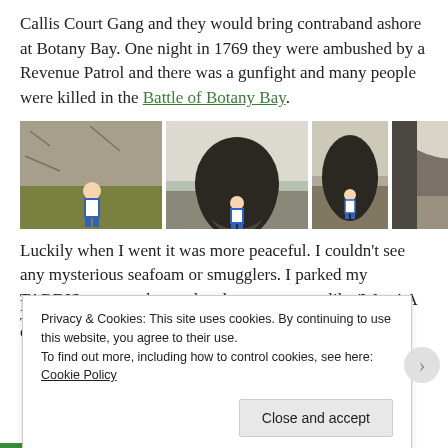Callis Court Gang and they would bring contraband ashore at Botany Bay. One night in 1769 they were ambushed by a Revenue Patrol and there was a gunfight and many people were killed in the Battle of Botany Bay.
[Figure (photo): Four photos of chalk cliffs and caves at Botany Bay, each showing a child in a blue and white striped shirt standing in front of the cliffs or inside a cave.]
Luckily when I went it was more peaceful. I couldn't see any mysterious seafoam or smugglers. I parked my TARDIS on a nearby road and everyone was like 'Wow! A TARDIS!' (not
Privacy & Cookies: This site uses cookies. By continuing to use this website, you agree to their use.
To find out more, including how to control cookies, see here: Cookie Policy
Close and accept